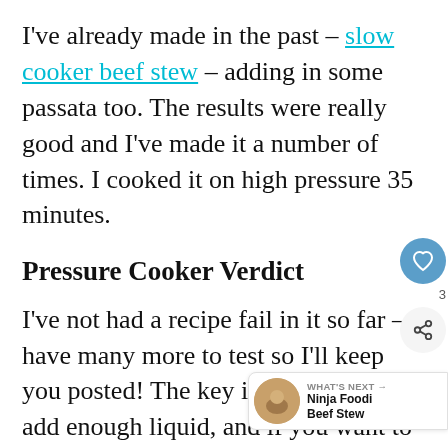I've already made in the past – slow cooker beef stew – adding in some passata too. The results were really good and I've made it a number of times. I cooked it on high pressure 35 minutes.
Pressure Cooker Verdict
I've not had a recipe fail in it so far – I have many more to test so I'll keep you posted! The key is to remember to add enough liquid, and if you want to get to pressure quicker, use hot water.